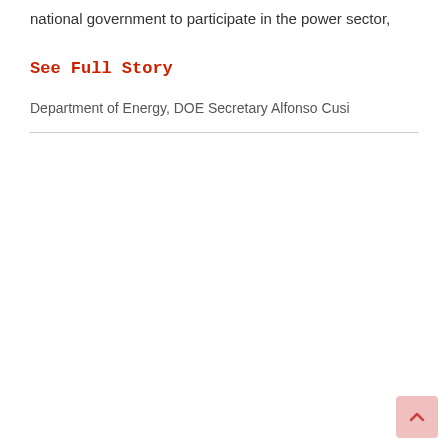national government to participate in the power sector,
See Full Story
Department of Energy, DOE Secretary Alfonso Cusi